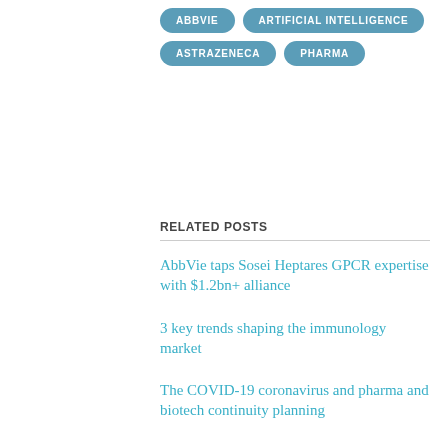ABBVIE
ARTIFICIAL INTELLIGENCE
ASTRAZENECA
PHARMA
RELATED POSTS
AbbVie taps Sosei Heptares GPCR expertise with $1.2bn+ alliance
3 key trends shaping the immunology market
The COVID-19 coronavirus and pharma and biotech continuity planning